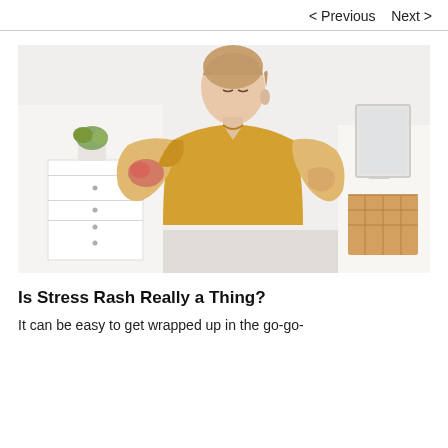< Previous   Next >
[Figure (photo): A young woman in a yellow t-shirt looking down at her arm, scratching a red rash on her upper arm. Background shows a bright, minimalist room with a dresser and mirror.]
Is Stress Rash Really a Thing?
It can be easy to get wrapped up in the go-go-